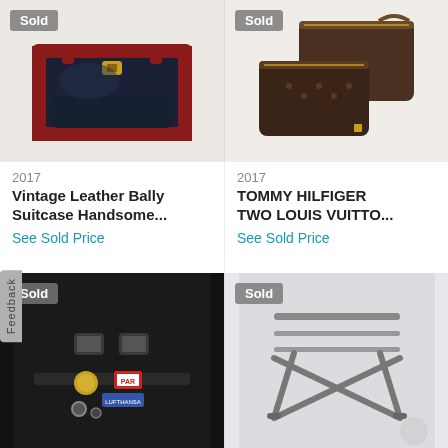[Figure (photo): Vintage leather Bally suitcase with dark navy body and red/burgundy leather trim and buckles, with Sold badge]
[Figure (photo): Two brown Louis Vuitton monogram coated canvas travel bags/pouches, with Sold badge]
2017
Vintage Leather Bally Suitcase Handsome...
See Sold Price
2017
TOMMY HILFIGER TWO LOUIS VUITTO...
See Sold Price
[Figure (photo): Close-up of dark suitcase clasps and locks with vintage travel luggage tags including PAR (Paris) tag, with Sold badge]
[Figure (photo): Chrome metal folding luggage rack / X-frame stand on white background, with Sold badge]